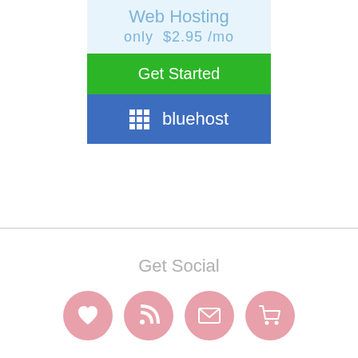[Figure (screenshot): Bluehost web hosting advertisement banner with text 'Web Hosting only $2.95/mo', a green 'Get Started' button, and a blue Bluehost logo bar]
Get Social
[Figure (illustration): Four pink circular social media icons: heart/favorites, RSS feed, email/envelope, and shopping cart]